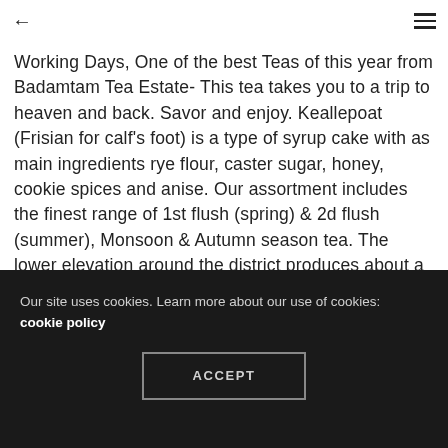← ≡
Working Days, One of the best Teas of this year from Badamtam Tea Estate- This tea takes you to a trip to heaven and back. Savor and enjoy. Keallepoat (Frisian for calf's foot) is a type of syrup cake with as main ingredients rye flour, caster sugar, honey, cookie spices and anise. Our assortment includes the finest range of 1st flush (spring) & 2d flush (summer), Monsoon & Autumn season tea. The lower elevation around the district produces about a third of many non-specialty Darjeeling. The first
Our site uses cookies. Learn more about our use of cookies: cookie policy
ACCEPT